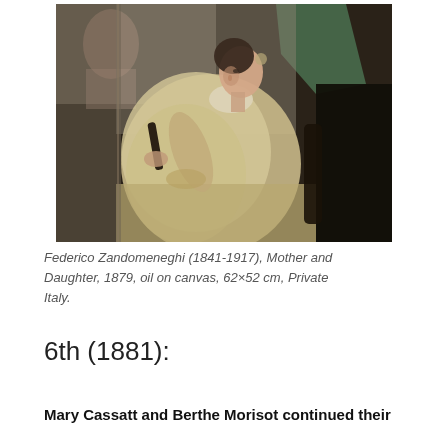[Figure (illustration): Painting depicting a woman in profile view, seated and holding a small dark object (possibly a mirror or book), wearing a light-colored garment. Another figure is partially visible in the upper left background. The painting has muted, earthy tones.]
Federico Zandomeneghi (1841-1917), Mother and Daughter, 1879, oil on canvas, 62×52 cm, Private Italy.
6th (1881):
Mary Cassatt and Berthe Morisot continued their